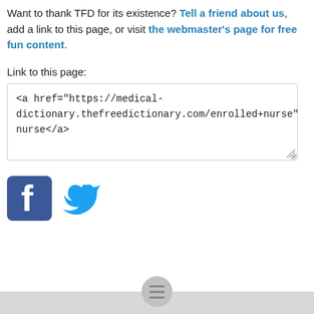Want to thank TFD for its existence? Tell a friend about us, add a link to this page, or visit the webmaster's page for free fun content.
Link to this page:
<a href="https://medical-dictionary.thefreedictionary.com/enrolled+nurse">enrolled nurse</a>
[Figure (logo): Facebook and Twitter social media icons]